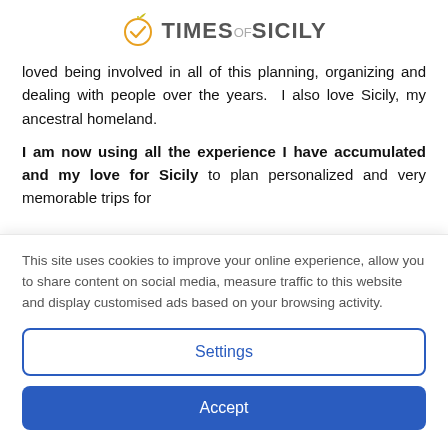TIMES OF SICILY
loved being involved in all of this planning, organizing and dealing with people over the years.  I also love Sicily, my ancestral homeland.
I am now using all the experience I have accumulated and my love for Sicily to plan personalized and very memorable trips for
This site uses cookies to improve your online experience, allow you to share content on social media, measure traffic to this website and display customised ads based on your browsing activity.
Settings
Accept